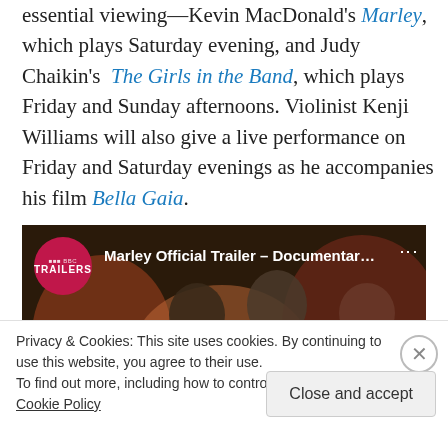essential viewing—Kevin MacDonald's Marley, which plays Saturday evening, and Judy Chaikin's The Girls in the Band, which plays Friday and Sunday afternoons. Violinist Kenji Williams will also give a live performance on Friday and Saturday evenings as he accompanies his film Bella Gaia.
[Figure (screenshot): Embedded YouTube video thumbnail showing 'Marley Official Trailer - Documentar...' with a BBC Trailers badge logo, dark reddish-brown scene with figures, and a red play button at the bottom center.]
Privacy & Cookies: This site uses cookies. By continuing to use this website, you agree to their use. To find out more, including how to control cookies, see here: Cookie Policy